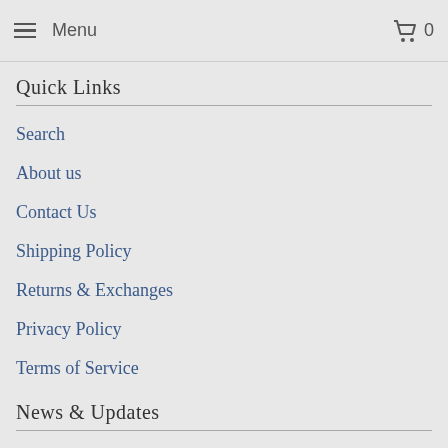Menu  0
Quick Links
Search
About us
Contact Us
Shipping Policy
Returns & Exchanges
Privacy Policy
Terms of Service
News & Updates
Sign up to get the latest on sales, new releases and more...